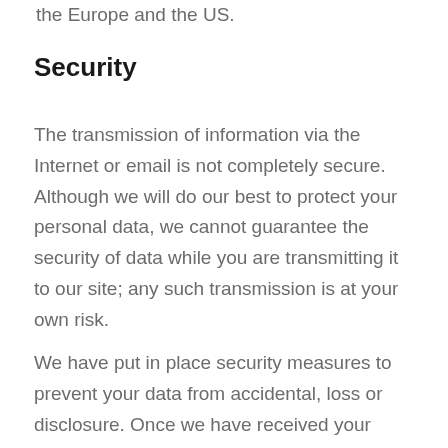the Europe and the US.
Security
The transmission of information via the Internet or email is not completely secure. Although we will do our best to protect your personal data, we cannot guarantee the security of data while you are transmitting it to our site; any such transmission is at your own risk.
We have put in place security measures to prevent your data from accidental, loss or disclosure. Once we have received your